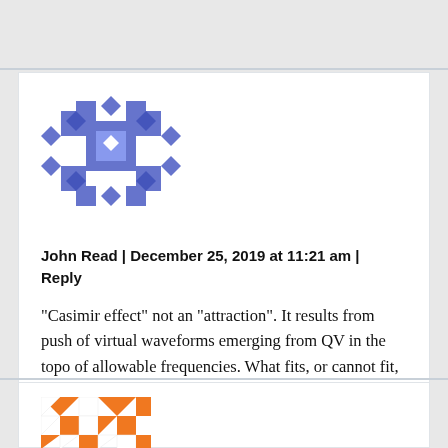[Figure (illustration): Blue geometric avatar/identicon with diamond and square patterns in blue/purple tones]
John Read | December 25, 2019 at 11:21 am | Reply
“Casimir effect” not an “attraction”. It results from push of virtual waveforms emerging from QV in the topo of allowable frequencies. What fits, or cannot fit, where…
[Figure (illustration): Orange and white geometric avatar/identicon partially visible at bottom of page]